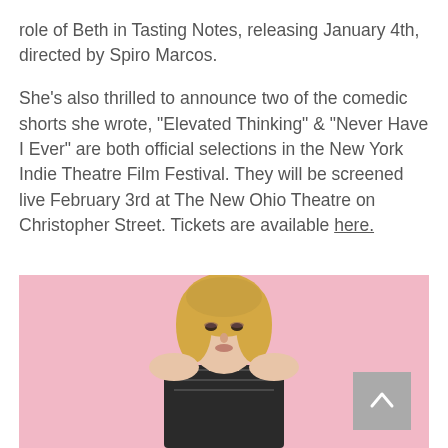role of Beth in Tasting Notes, releasing January 4th, directed by Spiro Marcos.
She's also thrilled to announce two of the comedic shorts she wrote, "Elevated Thinking" & "Never Have I Ever" are both official selections in the New York Indie Theatre Film Festival. They will be screened live February 3rd at The New Ohio Theatre on Christopher Street. Tickets are available here.
[Figure (photo): A young blonde woman with wavy hair posing in front of a pink background, wearing a patterned top]